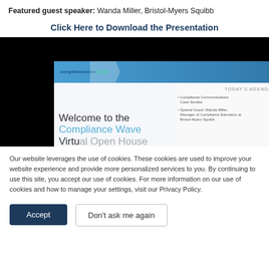Featured guest speaker: Wanda Miller, Bristol-Myers Squibb
Click Here to Download the Presentation
[Figure (screenshot): Screenshot of a Compliance Wave Virtual Open House webinar presentation slide showing the ComplianceWave logo, a welcome message reading 'Welcome to the Compliance Wave Virtual Open House', and an agenda panel listing 'Compliance Communications Case Studies' and 'Special Guest: Wanda Miller, Manager of Compliance Education, Bristol-Myers Squibb'. The screenshot is displayed on a black background.]
Our website leverages the use of cookies. These cookies are used to improve your website experience and provide more personalized services to you. By continuing to use this site, you accept our use of cookies. For more information on our use of cookies and how to manage your settings, visit our Privacy Policy.
Accept
Don't ask me again